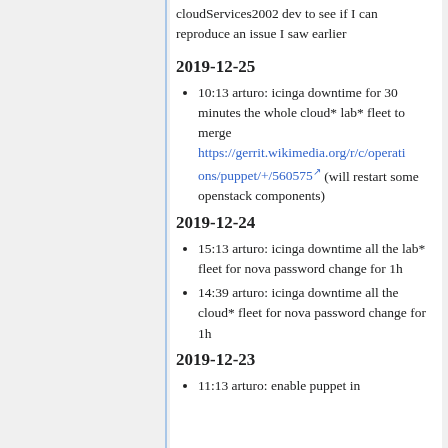cloudServices2002 dev to see if I can reproduce an issue I saw earlier
2019-12-25
10:13 arturo: icinga downtime for 30 minutes the whole cloud* lab* fleet to merge https://gerrit.wikimedia.org/r/c/operations/puppet/+/560575 (will restart some openstack components)
2019-12-24
15:13 arturo: icinga downtime all the lab* fleet for nova password change for 1h
14:39 arturo: icinga downtime all the cloud* fleet for nova password change for 1h
2019-12-23
11:13 arturo: enable puppet in